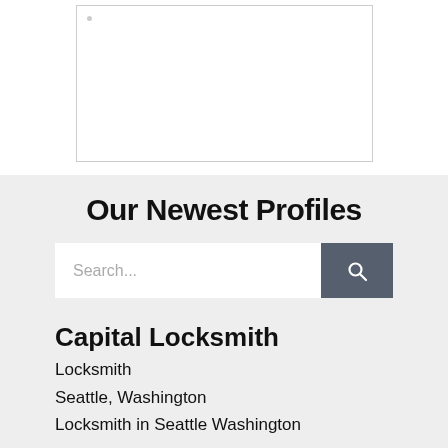[Figure (other): White rectangular image placeholder box with a light border and a small dot in the top-left corner]
Our Newest Profiles
Search...
Capital Locksmith
Locksmith
Seattle, Washington
Locksmith in Seattle Washington